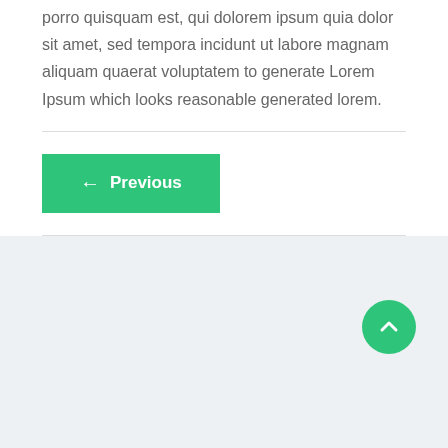porro quisquam est, qui dolorem ipsum quia dolor sit amet, sed tempora incidunt ut labore magnam aliquam quaerat voluptatem to generate Lorem Ipsum which looks reasonable generated lorem.
[Figure (other): Previous navigation button with left arrow, green background]
[Figure (other): Scroll-to-top circular green button with upward chevron arrow in footer area]